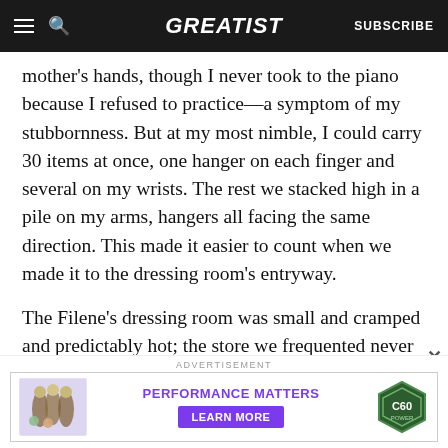GREATIST | SUBSCRIBE
mother's hands, though I never took to the piano because I refused to practice—a symptom of my stubbornness. But at my most nimble, I could carry 30 items at once, one hanger on each finger and several on my wrists. The rest we stacked high in a pile on my arms, hangers all facing the same direction. This made it easier to count when we made it to the dressing room's entryway.
The Filene's dressing room was small and cramped and predictably hot; the store we frequented never
[Figure (infographic): Advertisement banner: product bottles on left, 'PERFORMANCE MATTERS' and 'LEARN MORE' button in center, C60 hexagonal badge on right.]